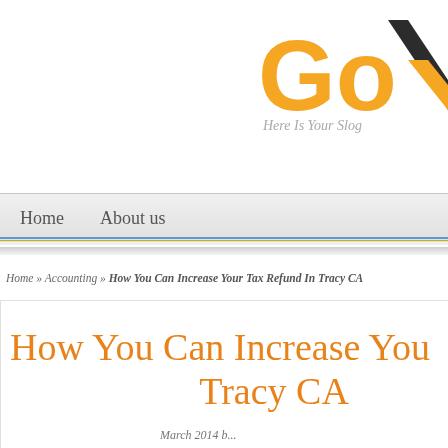[Figure (logo): GoA logo with orange 'Go' text and dark grey lambda/A symbol, with italic grey slogan 'Here Is Your Slog']
Home   About us
Home » Accounting » How You Can Increase Your Tax Refund In Tracy CA
How You Can Increase Your Tax Refund In Tracy CA